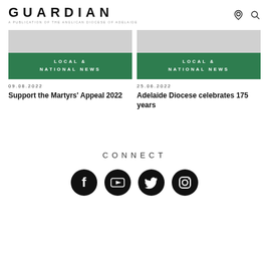GUARDIAN — A PUBLICATION OF THE ANGLICAN DIOCESE OF ADELAIDE
LOCAL & NATIONAL NEWS
09.08.2022
Support the Martyrs' Appeal 2022
LOCAL & NATIONAL NEWS
25.06.2022
Adelaide Diocese celebrates 175 years
CONNECT
[Figure (infographic): Social media icons for Facebook, YouTube, Twitter, and Instagram — four circular black buttons in a row]